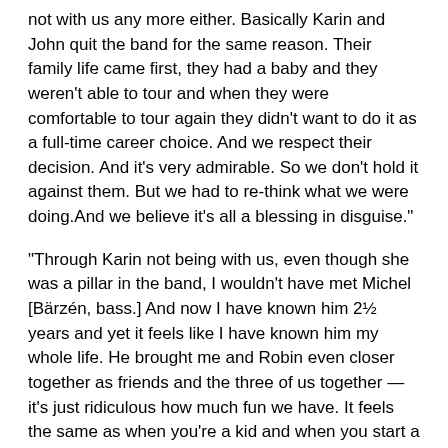not with us any more either. Basically Karin and John quit the band for the same reason. Their family life came first, they had a baby and they weren't able to tour and when they were comfortable to tour again they didn't want to do it as a full-time career choice. And we respect their decision. And it's very admirable. So we don't hold it against them. But we had to re-think what we were doing.And we believe it's all a blessing in disguise."
"Through Karin not being with us, even though she was a pillar in the band, I wouldn't have met Michel [Bärzén, bass.] And now I have known him 2½ years and yet it feels like I have known him my whole life. He brought me and Robin even closer together as friends and the three of us together — it's just ridiculous how much fun we have. It feels the same as when you're a kid and when you start a band. I've always enjoyed playing music throughout my whole career but it's never felt like this before."
What's next?